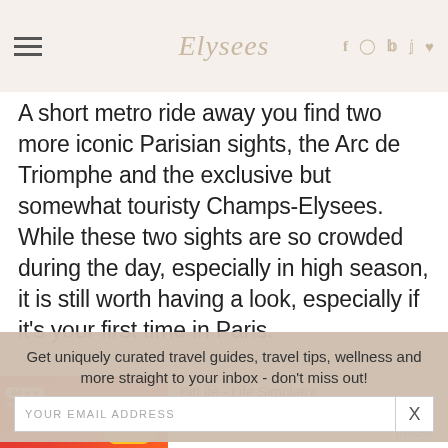Elysees
A short metro ride away you find two more iconic Parisian sights, the Arc de Triomphe and the exclusive but somewhat touristy Champs-Elysees. While these two sights are so crowded during the day, especially in high season, it is still worth having a look, especially if it's your first time in Paris.
[Figure (photo): Partial view of trees against a blue sky, bottom portion of a Paris outdoor photo]
Get uniquely curated travel guides, travel tips, wellness and more straight to your inbox - don't miss out!
YOUR EMAIL ADDRESS
[Figure (infographic): Ad banner for BitLife - Life Simulator app with red background and app icon]